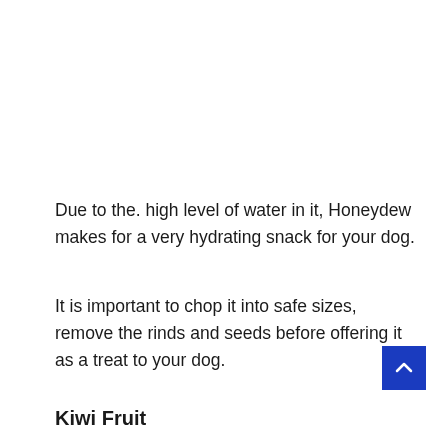Due to the. high level of water in it, Honeydew makes for a very hydrating snack for your dog.
It is important to chop it into safe sizes, remove the rinds and seeds before offering it as a treat to your dog.
Kiwi Fruit